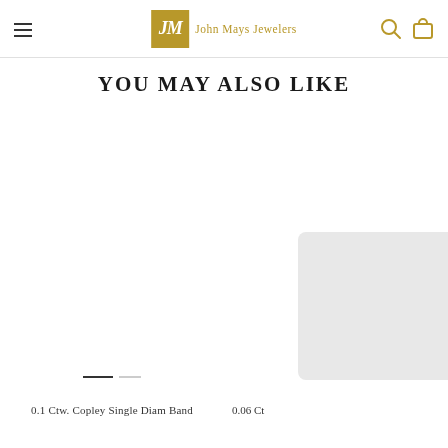John Mays Jewelers
You may also like
[Figure (photo): Product image area for first jewelry item with slider navigation dots]
[Figure (photo): Partially visible product image showing a jewelry box on white background]
0.1 Ctw. Copley Single Diam Band
0.06 Ct...